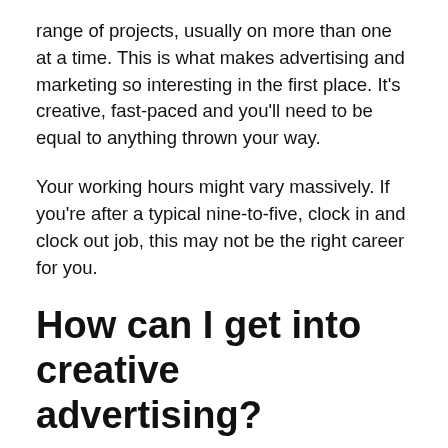range of projects, usually on more than one at a time. This is what makes advertising and marketing so interesting in the first place. It's creative, fast-paced and you'll need to be equal to anything thrown your way.
Your working hours might vary massively. If you're after a typical nine-to-five, clock in and clock out job, this may not be the right career for you.
How can I get into creative advertising?
Creative advertisers might work for specialist ad agencies that focus on one niche media channel, such as digital/online agencies. Alternatively, they might work for integrated agencies that offer the whole caboodle of advertising services. Integrated agencies tend to be the